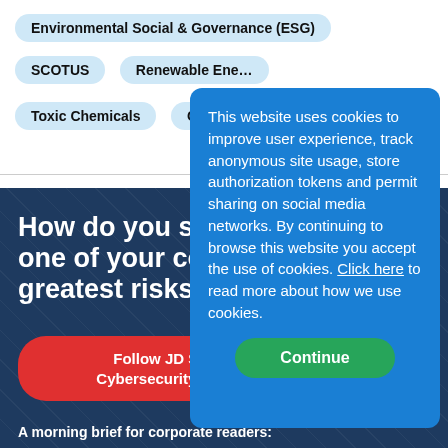Environmental Social & Governance (ESG)
SCOTUS
Renewable Energy
Toxic Chemicals
Carbon
all ›
How do you stay ahead of one of your company's greatest risks?
Follow JD Supra's Cybersecurity channel
A morning brief for corporate readers:
This website uses cookies to improve user experience, track anonymous site usage, store authorization tokens and permit sharing on social media networks. By continuing to browse this website you accept the use of cookies. Click here to read more about how we use cookies.
Continue